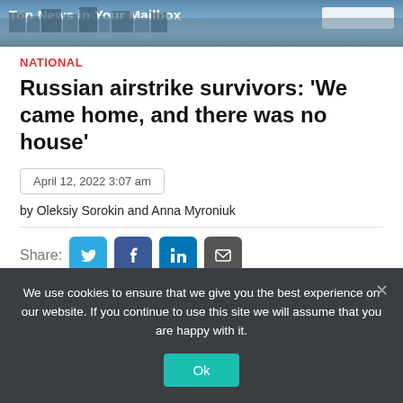[Figure (photo): Top banner with cityscape/skyline background and 'Top News in Your Mailbox' text with input field]
NATIONAL
Russian airstrike survivors: ‘We came home, and there was no house’
April 12, 2022 3:07 am
by Oleksiy Sorokin and Anna Myroniuk
Share:
[Figure (photo): Photograph of a destroyed building with collapsed roof and bare trees in foreground]
We use cookies to ensure that we give you the best experience on our website. If you continue to use this site we will assume that you are happy with it.